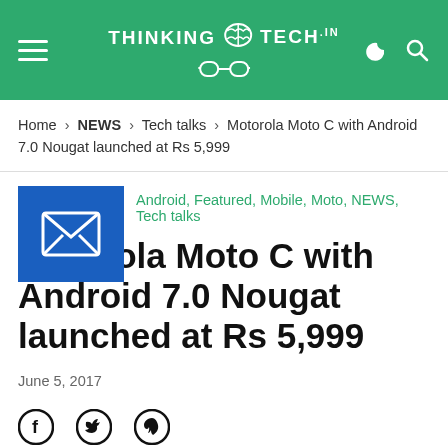THINKING TECH.in
Home > NEWS > Tech talks > Motorola Moto C with Android 7.0 Nougat launched at Rs 5,999
Android, Featured, Mobile, Moto, NEWS, Tech talks
Motorola Moto C with Android 7.0 Nougat launched at Rs 5,999
June 5, 2017